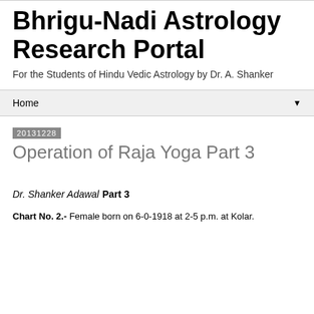Bhrigu-Nadi Astrology Research Portal
For the Students of Hindu Vedic Astrology by Dr. A. Shanker
Home ▼
20131228
Operation of Raja Yoga Part 3
Dr. Shanker Adawal
Part 3
Chart No. 2.- Female born on 6-0-1918 at 2-5 p.m. at Kolar.